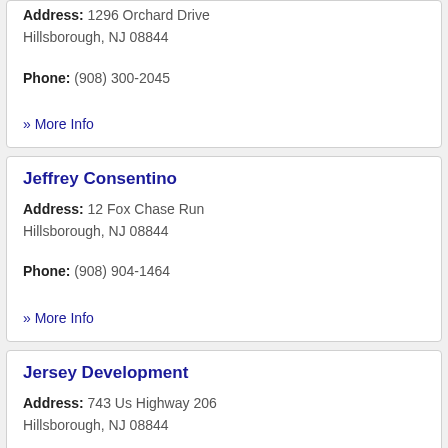Address: 1296 Orchard Drive Hillsborough, NJ 08844
Phone: (908) 300-2045
» More Info
Jeffrey Consentino
Address: 12 Fox Chase Run Hillsborough, NJ 08844
Phone: (908) 904-1464
» More Info
Jersey Development
Address: 743 Us Highway 206 Hillsborough, NJ 08844